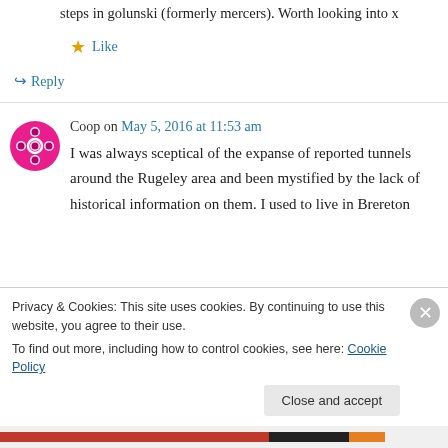steps in golunski (formerly mercers). Worth looking into x
★ Like
↪ Reply
Coop on May 5, 2016 at 11:53 am
I was always sceptical of the expanse of reported tunnels around the Rugeley area and been mystified by the lack of historical information on them. I used to live in Brereton
Privacy & Cookies: This site uses cookies. By continuing to use this website, you agree to their use.
To find out more, including how to control cookies, see here: Cookie Policy
Close and accept